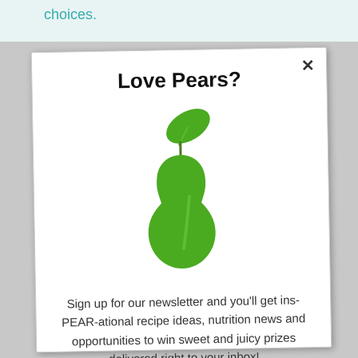choices.
[Figure (illustration): A modal popup dialog with a white background. Top right has an X close button. Contains a green pear icon with a leaf. Below is newsletter signup text.]
Love Pears?
Sign up for our newsletter and you'll get ins-PEAR-ational recipe ideas, nutrition news and opportunities to win sweet and juicy prizes delivered right to your inbox!